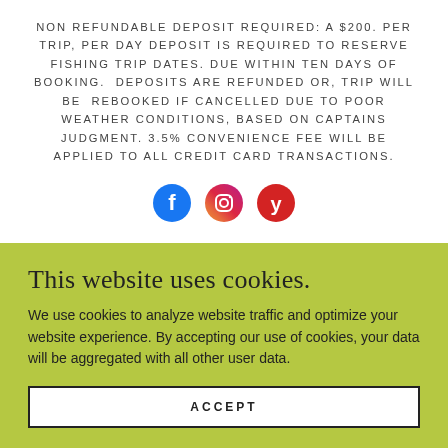NON REFUNDABLE DEPOSIT REQUIRED: A $200. PER TRIP, PER DAY DEPOSIT IS REQUIRED TO RESERVE FISHING TRIP DATES. DUE WITHIN TEN DAYS OF BOOKING.  DEPOSITS ARE REFUNDED OR, TRIP WILL BE  REBOOKED IF CANCELLED DUE TO POOR WEATHER CONDITIONS, BASED ON CAPTAINS JUDGMENT. 3.5% CONVENIENCE FEE WILL BE APPLIED TO ALL CREDIT CARD TRANSACTIONS.
[Figure (other): Three social media icons: Facebook (blue circle), Instagram (gradient circle), and Yelp (red circle)]
This website uses cookies.
We use cookies to analyze website traffic and optimize your website experience. By accepting our use of cookies, your data will be aggregated with all other user data.
ACCEPT